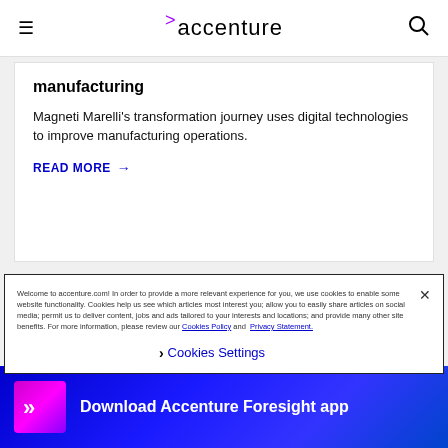accenture
manufacturing
Magneti Marelli's transformation journey uses digital technologies to improve manufacturing operations.
READ MORE →
Welcome to accenture.com! In order to provide a more relevant experience for you, we use cookies to enable some website functionality. Cookies help us see which articles most interest you; allow you to easily share articles on social media; permit us to deliver content, jobs and ads tailored to your interests and locations; and provide many other site benefits. For more information, please review our Cookies Policy and Privacy Statement.
› Cookies Settings
Download Accenture Foresight app